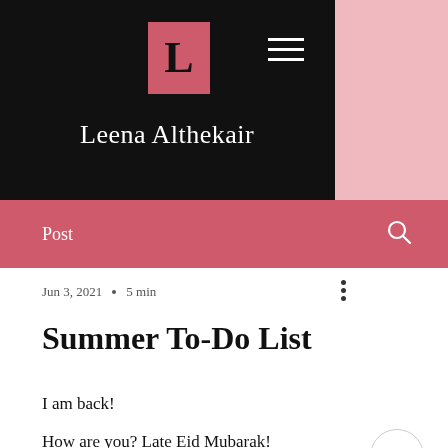Leena Althekair
Post
Jun 3, 2021  •  5 min
Summer To-Do List
I am back!
How are you? Late Eid Mubarak!
I hope Ramadan has been fruitful and